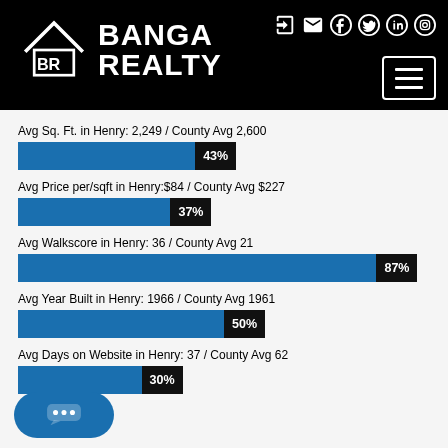[Figure (logo): Banga Realty logo with house/BR icon on black header background]
[Figure (bar-chart): Real estate stats for Henry vs County]